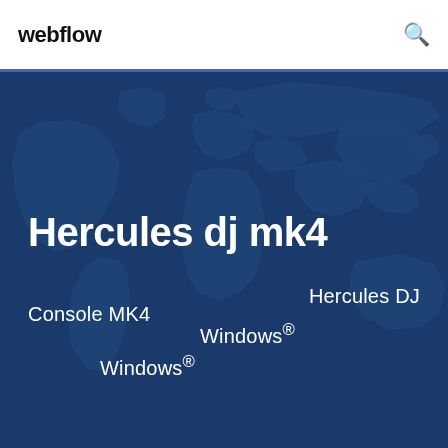webflow
Hercules dj mk4
Console MK4
Hercules DJ
Windows®
Windows®
[Figure (illustration): Dark blue world map background illustration showing continents in a slightly lighter navy blue tone against a darker navy background, used as a decorative backdrop for the hero section of a Webflow page about Hercules DJ MK4 products.]